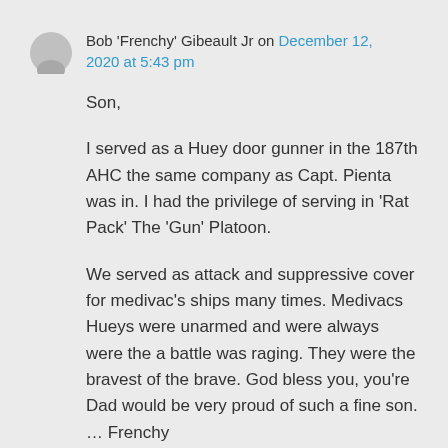Bob 'Frenchy' Gibeault Jr on December 12, 2020 at 5:43 pm
Son,

I served as a Huey door gunner in the 187th AHC the same company as Capt. Pienta was in. I had the privilege of serving in 'Rat Pack' The 'Gun' Platoon.

We served as attack and suppressive cover for medivac's ships many times. Medivacs Hueys were unarmed and were always were the a battle was raging. They were the bravest of the brave. God bless you, you're Dad would be very proud of such a fine son. … Frenchy